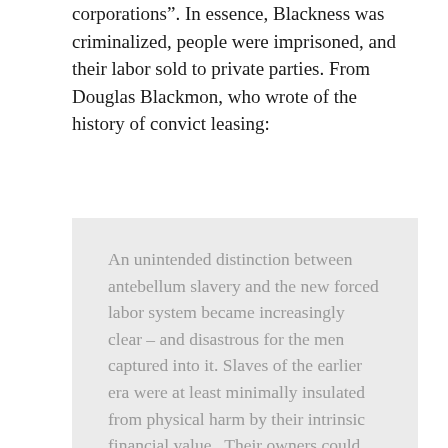corporations". In essence, Blackness was criminalized, people were imprisoned, and their labor sold to private parties. From Douglas Blackmon, who wrote of the history of convict leasing:
An unintended distinction between antebellum slavery and the new forced labor system became increasingly clear – and disastrous for the men captured into it. Slaves of the earlier era were at least minimally insulated from physical harm by their intrinsic financial value.  Their owners could borrow money with the slaves as collateral, pay debts with them, sell them at a profit, or extend the investment through production of more slave children.  But the convicts of the new system were of value